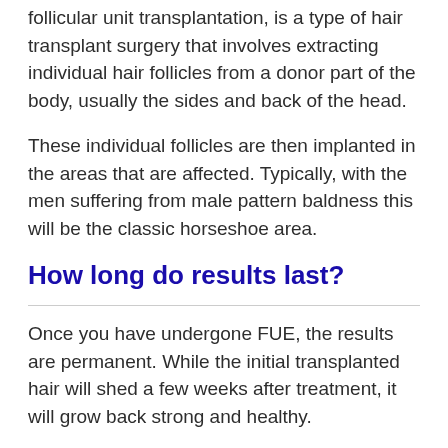follicular unit transplantation, is a type of hair transplant surgery that involves extracting individual hair follicles from a donor part of the body, usually the sides and back of the head.
These individual follicles are then implanted in the areas that are affected. Typically, with the men suffering from male pattern baldness this will be the classic horseshoe area.
How long do results last?
Once you have undergone FUE, the results are permanent. While the initial transplanted hair will shed a few weeks after treatment, it will grow back strong and healthy.
How FUE works
FUE works by extracting naturally occurring groups of one to